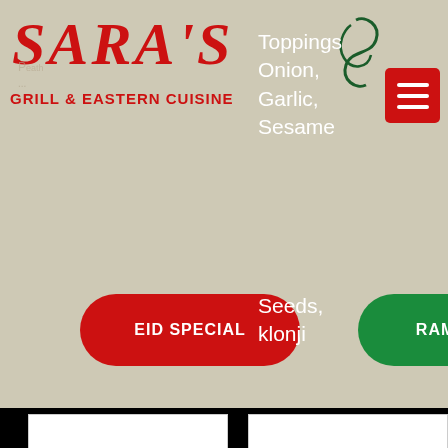[Figure (screenshot): Sara's Grill & Eastern Cuisine restaurant website screenshot showing logo, navigation, buttons, and product placeholders]
SARA'S
GRILL & EASTERN CUISINE
Toppings Onion, Garlic, Sesame Seeds, Klonji (Black Seeds)
$5.99
EID SPECIAL
RAMADAN OFFER